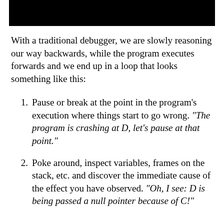[Figure (other): Black redacted bar at the top of the page]
With a traditional debugger, we are slowly reasoning our way backwards, while the program executes forwards and we end up in a loop that looks something like this:
Pause or break at the point in the program's execution where things start to go wrong. "The program is crashing at D, let's pause at that point."
Poke around, inspect variables, frames on the stack, etc. and discover the immediate cause of the effect you have observed. "Oh, I see: D is being passed a null pointer because of C!"